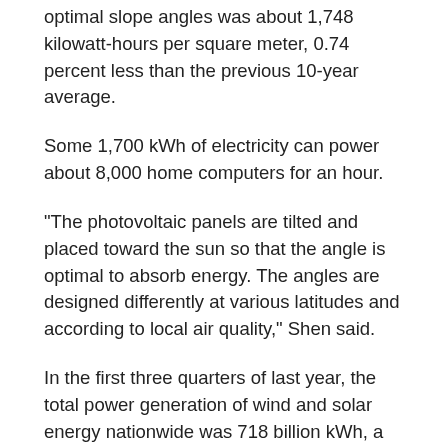optimal slope angles was about 1,748 kilowatt-hours per square meter, 0.74 percent less than the previous 10-year average.
Some 1,700 kWh of electricity can power about 8,000 home computers for an hour.
"The photovoltaic panels are tilted and placed toward the sun so that the angle is optimal to absorb energy. The angles are designed differently at various latitudes and according to local air quality," Shen said.
In the first three quarters of last year, the total power generation of wind and solar energy nationwide was 718 billion kWh, a year-on-year increase of 34.9 percent, according to the National New Energy Consumption Monitoring and Early Warning Center.
A guideline released last year by the central government said the country would give priority to clean energy and the total installed capacity of wind and solar power